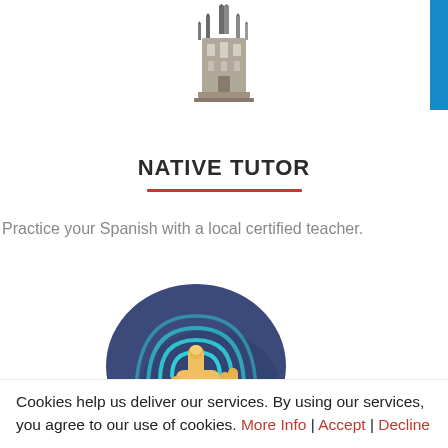[Figure (illustration): Cathedral/church building illustration (Sagrada Familia style) used as a logo/icon at top center of the page]
NATIVE TUTOR
Practice your Spanish with a local certified teacher.
[Figure (illustration): Circular icon with dark blue background showing a hand pointing/touching with turquoise concentric arc lines around the touch point]
Cookies help us deliver our services. By using our services, you agree to our use of cookies. More Info | Accept | Decline